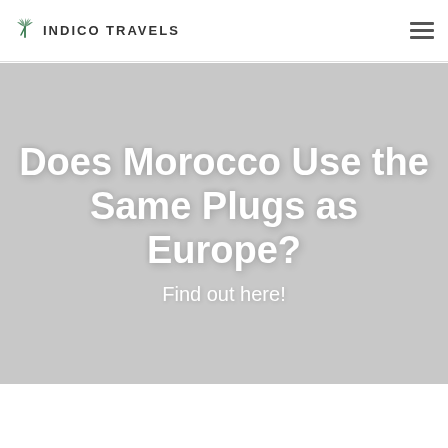INDICO TRAVELS
[Figure (illustration): Gray hero banner background with white large bold text reading 'Does Morocco Use the Same Plugs as Europe?' and subtitle 'Find out here!']
Does Morocco Use the Same Plugs as Europe?
Find out here!